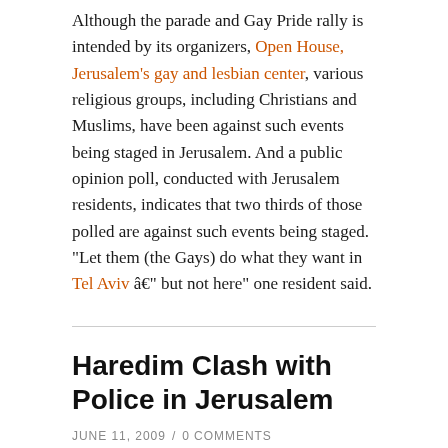Although the parade and Gay Pride rally is intended by its organizers, Open House, Jerusalem's gay and lesbian center, various religious groups, including Christians and Muslims, have been against such events being staged in Jerusalem. And a public opinion poll, conducted with Jerusalem residents, indicates that two thirds of those polled are against such events being staged. "Let them (the Gays) do what they want in Tel Aviv â€" but not here" one resident said.
Haredim Clash with Police in Jerusalem
JUNE 11, 2009 / 0 COMMENTS